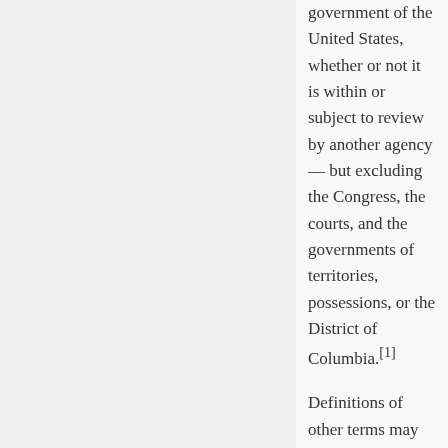government of the United States, whether or not it is within or subject to review by another agency— but excluding the Congress, the courts, and the governments of territories, possessions, or the District of Columbia.[1] Definitions of other terms may be found in section 551.